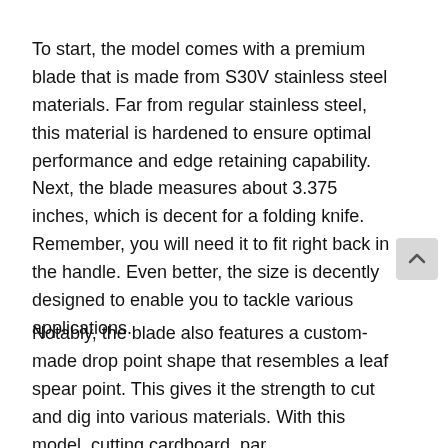To start, the model comes with a premium blade that is made from S30V stainless steel materials. Far from regular stainless steel, this material is hardened to ensure optimal performance and edge retaining capability. Next, the blade measures about 3.375 inches, which is decent for a folding knife. Remember, you will need it to fit right back in the handle. Even better, the size is decently designed to enable you to tackle various applications.
Notably, the blade also features a custom-made drop point shape that resembles a leaf spear point. This gives it the strength to cut and dig into various materials. With this model, cutting cardboard, par...